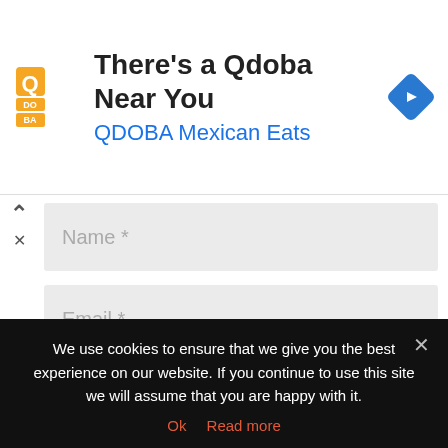[Figure (infographic): Qdoba ad banner with orange Q logo, text 'There's a Qdoba Near You', 'QDOBA Mexican Eats' in blue, and a blue navigation diamond icon on the right]
Name *
Email *
Website
Notify me of follow-up comments by email.
We use cookies to ensure that we give you the best experience on our website. If you continue to use this site we will assume that you are happy with it.
Ok   Read more